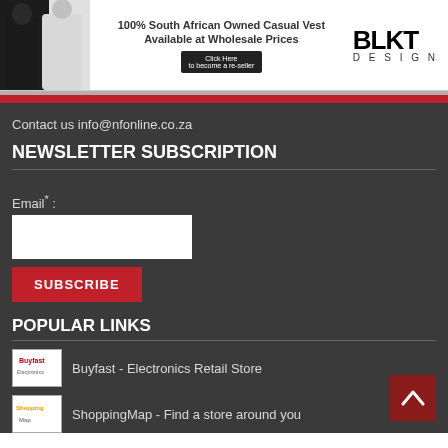[Figure (photo): Banner advertisement for BLKT Design showing two people wearing casual vests (one black, one white), with text '100% South African Owned Casual Vest Available at Wholesale Prices', a 'Click Here to become a re-seller' button, and the BLKT Design logo.]
Contact us info@nfonline.co.za
NEWSLETTER SUBSCRIPTION
Email* :
SUBSCRIBE
POPULAR LINKS
Buyfast - Electronics Retail Store
ShoppingMap - Find a store around you